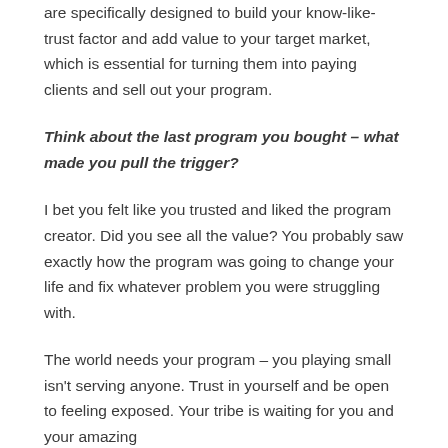are specifically designed to build your know-like-trust factor and add value to your target market, which is essential for turning them into paying clients and sell out your program.
Think about the last program you bought – what made you pull the trigger?
I bet you felt like you trusted and liked the program creator. Did you see all the value? You probably saw exactly how the program was going to change your life and fix whatever problem you were struggling with.
The world needs your program – you playing small isn't serving anyone. Trust in yourself and be open to feeling exposed. Your tribe is waiting for you and your amazing